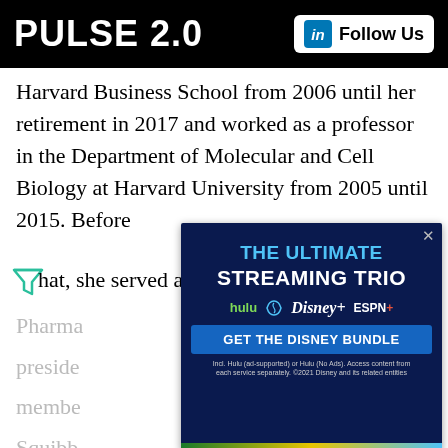PULSE 2.0 | Follow Us
Harvard Business School from 2006 until her retirement in 2017 and worked as a professor in the Department of Molecular and Cell Biology at Harvard University from 2005 until 2015. Before that, she served as president of Vertex Pharmaceuticals, president... member... Squibb... Therapies...
[Figure (advertisement): Disney Bundle advertisement showing 'THE ULTIMATE STREAMING TRIO' with Hulu, Disney+, and ESPN+ logos on dark blue background, with a 'GET THE DISNEY BUNDLE' CTA button]